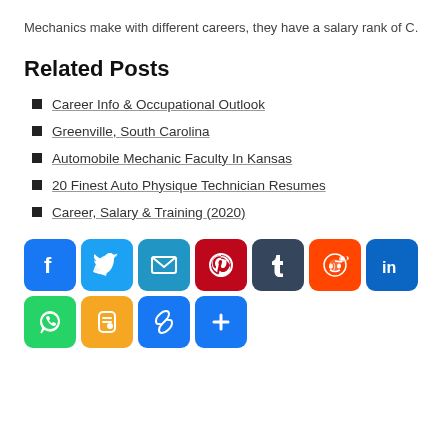Mechanics make with different careers, they have a salary rank of C.
Related Posts
Career Info & Occupational Outlook
Greenville, South Carolina
Automobile Mechanic Faculty In Kansas
20 Finest Auto Physique Technician Resumes
Career, Salary & Training (2020)
[Figure (infographic): Social sharing buttons: Facebook, Twitter, Email, Pinterest, Tumblr, Reddit, LinkedIn, WhatsApp, Blogger, Copy Link, More (+)]